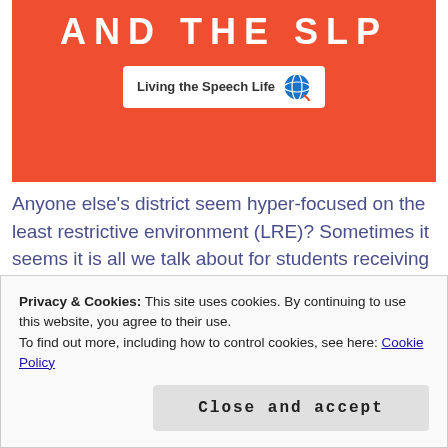[Figure (illustration): Orange/red banner with white bold uppercase text 'AND THE SLP' and a white badge reading 'Living the Speech Life' with a globe/speech bubble icon]
Anyone else's district seem hyper-focused on the least restrictive environment (LRE)? Sometimes it seems it is all we talk about for students receiving special education services. So much so that we move from too many students being served in a small group resource setting to too many being served (inappropriately) in a general education (or co-taught) setting. Come on, no one model is best for
Privacy & Cookies: This site uses cookies. By continuing to use this website, you agree to their use.
To find out more, including how to control cookies, see here: Cookie Policy
Close and accept